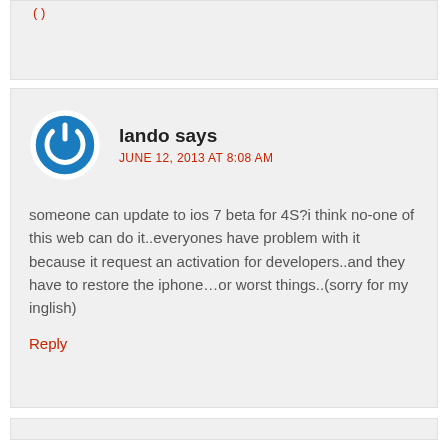lando says
JUNE 12, 2013 AT 8:08 AM
someone can update to ios 7 beta for 4S?i think no-one of this web can do it..everyones have problem with it because it request an activation for developers..and they have to restore the iphone...or worst things..(sorry for my inglish)
Reply